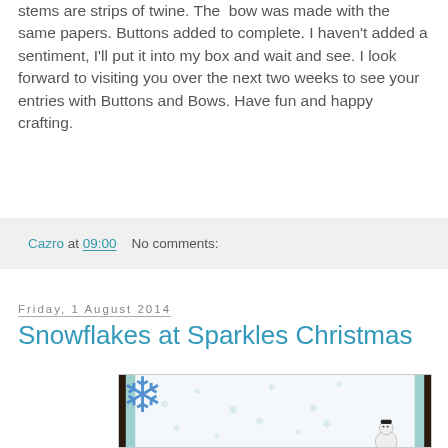stems are strips of twine. The bow was made with the same papers. Buttons added to complete. I haven't added a sentiment, I'll put it into my box and wait and see. I look forward to visiting you over the next two weeks to see your entries with Buttons and Bows. Have fun and happy crafting.
Cazro at 09:00   No comments:
Friday, 1 August 2014
Snowflakes at Sparkles Christmas
[Figure (photo): A handmade Christmas card with dark brown border, light blue layer, and white snowflake-patterned background. A large 3D blue die-cut snowflake is in the upper left corner. A snowman figure is in the lower right. The text 'Happy Christmas' appears at the bottom in italic script.]